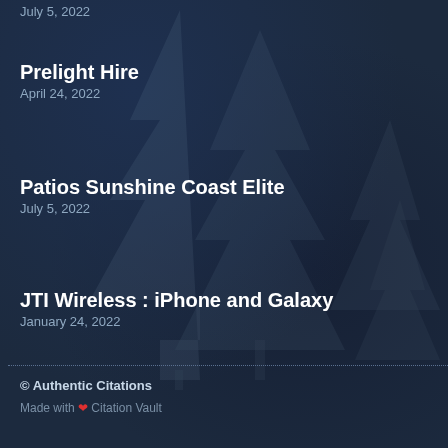Prelight Hire
April 24, 2022
Patios Sunshine Coast Elite
July 5, 2022
JTI Wireless : iPhone and Galaxy
January 24, 2022
© Authentic Citations
Made with ❤ Citation Vault